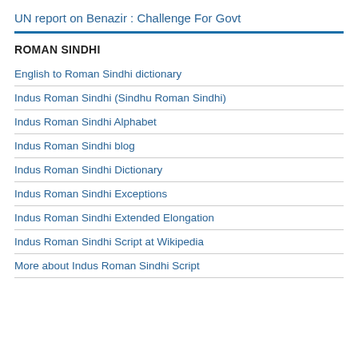UN report on Benazir : Challenge For Govt
ROMAN SINDHI
English to Roman Sindhi dictionary
Indus Roman Sindhi (Sindhu Roman Sindhi)
Indus Roman Sindhi Alphabet
Indus Roman Sindhi blog
Indus Roman Sindhi Dictionary
Indus Roman Sindhi Exceptions
Indus Roman Sindhi Extended Elongation
Indus Roman Sindhi Script at Wikipedia
More about Indus Roman Sindhi Script